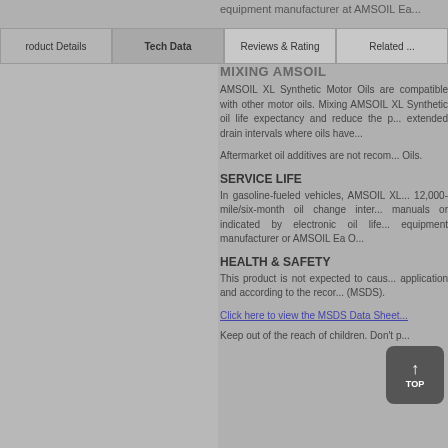equipment manufacturer at AMSOIL Ea...
Product Details | Tech Data | Reviews & Rating | Related...
MIXING AMSOIL
AMSOIL XL Synthetic Motor Oils are compatible with other motor oils. Mixing AMSOIL XL Synthetic with other oils will reduce oil life expectancy and reduce the performance benefits of extended drain intervals where oils have...
Aftermarket oil additives are not recommended for AMSOIL XL Synthetic Motor Oils.
SERVICE LIFE
In gasoline-fueled vehicles, AMSOIL XL is recommended for 12,000-mile/six-month oil change intervals per owner's manuals or indicated by electronic oil life monitors or original equipment manufacturer or AMSOIL Ea O...
HEALTH & SAFETY
This product is not expected to cause health concerns when used in the intended application and according to the recommendations of the Material Safety Data Sheet (MSDS).
Click here to view the MSDS Data Sheet...
Keep out of the reach of children. Don't p...